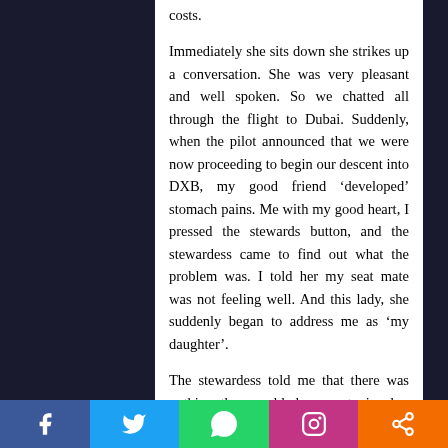costs.

Immediately she sits down she strikes up a conversation. She was very pleasant and well spoken. So we chatted all through the flight to Dubai. Suddenly, when the pilot announced that we were now proceeding to begin our descent into DXB, my good friend ‘developed’ stomach pains. Me with my good heart, I pressed the stewards button, and the stewardess came to find out what the problem was. I told her my seat mate was not feeling well. And this lady, she suddenly began to address me as ‘my daughter’.

The stewardess told me that there was nothing they could do except give her some painkillers and wait until we landed. The pilot announced that we had a medical emergency on board and advised us all to stay calm. My new friend was
Facebook Twitter WhatsApp Instagram Share